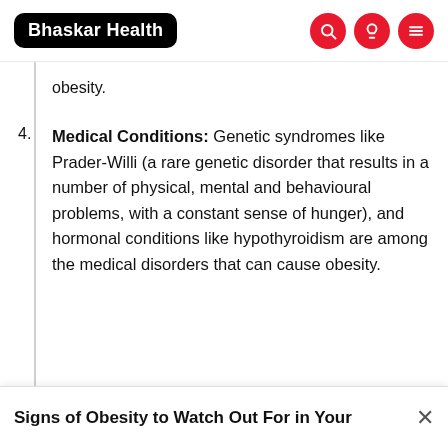Bhaskar Health
obesity.
4. Medical Conditions: Genetic syndromes like Prader-Willi (a rare genetic disorder that results in a number of physical, mental and behavioural problems, with a constant sense of hunger), and hormonal conditions like hypothyroidism are among the medical disorders that can cause obesity.
Signs of Obesity to Watch Out For in Your